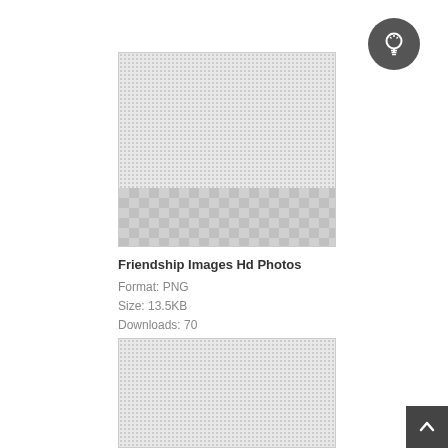[Figure (other): Light bulb icon in a dark circular button, top right corner]
[Figure (photo): Image placeholder with gray noise pattern in upper portion and checkerboard transparency pattern in lower portion, indicating a PNG image with transparency]
Friendship Images Hd Photos
Format: PNG
Size: 13.5KB
Downloads: 70
[Figure (photo): Second image placeholder with gray noise pattern, partially visible at bottom of page]
[Figure (other): Scroll-to-top button with upward arrow, bottom right corner]